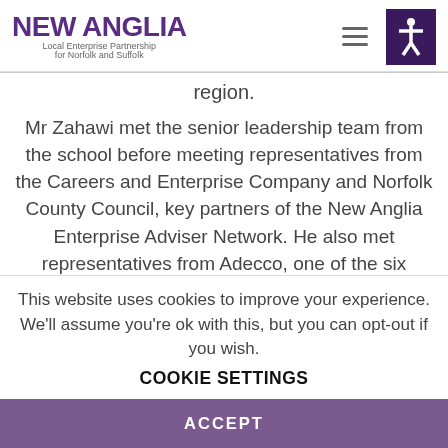[Figure (logo): New Anglia Local Enterprise Partnership for Norfolk and Suffolk logo]
region.
Mr Zahawi met the senior leadership team from the school before meeting representatives from the Careers and Enterprise Company and Norfolk County Council, key partners of the New Anglia Enterprise Adviser Network. He also met representatives from Adecco, one of the six
This website uses cookies to improve your experience. We'll assume you're ok with this, but you can opt-out if you wish.
COOKIE SETTINGS
ACCEPT